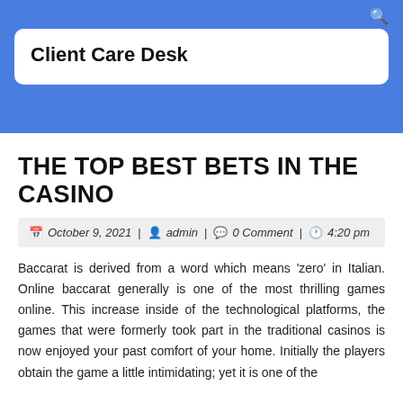Client Care Desk
THE TOP BEST BETS IN THE CASINO
October 9, 2021 | admin | 0 Comment | 4:20 pm
Baccarat is derived from a word which means 'zero' in Italian. Online baccarat generally is one of the most thrilling games online. This increase inside of the technological platforms, the games that were formerly took part in the traditional casinos is now enjoyed your past comfort of your home. Initially the players obtain the game a little intimidating; yet it is one of the